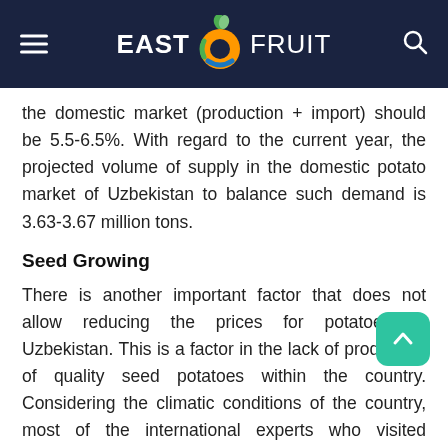EAST FRUIT
the domestic market (production + import) should be 5.5-6.5%. With regard to the current year, the projected volume of supply in the domestic potato market of Uzbekistan to balance such demand is 3.63-3.67 million tons.
Seed Growing
There is another important factor that does not allow reducing the prices for potatoes in Uzbekistan. This is a factor in the lack of production of quality seed potatoes within the country. Considering the climatic conditions of the country, most of the international experts who visited Uzbekistan agreed that it would be quite difficult, if not impossible, to establish the cultivation of high-quality seed potatoes in the country.
In order to obtain high yields of potatoes of the required quality, the country needs to constantly import seed potatoes